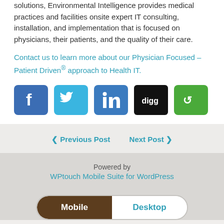solutions, Environmental Intelligence provides medical practices and facilities onsite expert IT consulting, installation, and implementation that is focused on physicians, their patients, and the quality of their care.
Contact us to learn more about our Physician Focused – Patient Driven® approach to Health IT.
[Figure (infographic): Row of five social sharing icons: Facebook (blue), Twitter (light blue), LinkedIn (blue), Digg (black), and a green share icon.]
◄ Previous Post    Next Post ►
Powered by
WPtouch Mobile Suite for WordPress
[Figure (infographic): Mobile/Desktop switcher button with Mobile selected (dark brown) and Desktop option (white with teal text).]